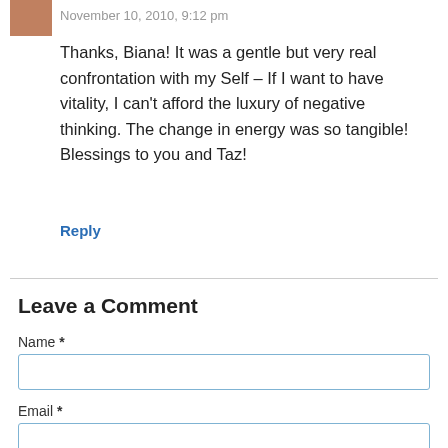November 10, 2010, 9:12 pm
Thanks, Biana! It was a gentle but very real confrontation with my Self – If I want to have vitality, I can't afford the luxury of negative thinking. The change in energy was so tangible! Blessings to you and Taz!
Reply
Leave a Comment
Name *
Email *
Website